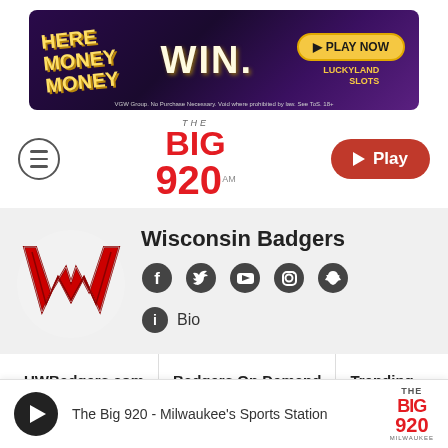[Figure (other): Advertisement banner: 'HERE MONEY MONEY WIN PLAY NOW LUCKYLAND SLOTS' with purple/gold background. Disclaimer text: VGW Group. No Purchase Necessary. Void where prohibited by law. See ToS. 18+]
[Figure (logo): The Big 920 AM radio station logo with hamburger menu on left and Play button on right]
[Figure (logo): Wisconsin Badgers W logo in red, profile section on gray background]
Wisconsin Badgers
Bio
UWBadgers.com   Badgers On Demand   Trending
The Big 920 - Milwaukee's Sports Station